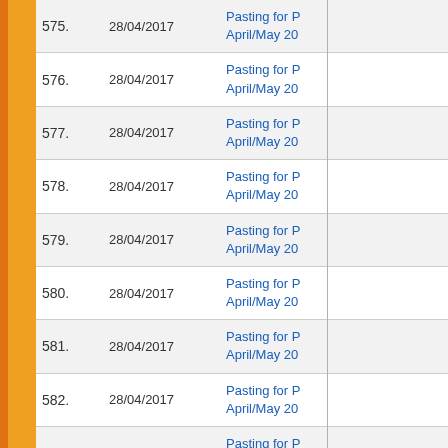| No. | Date | Title |
| --- | --- | --- |
| 575. | 28/04/2017 | Pasting for P... April/May 20... |
| 576. | 28/04/2017 | Pasting for P... April/May 20... |
| 577. | 28/04/2017 | Pasting for P... April/May 20... |
| 578. | 28/04/2017 | Pasting for P... April/May 20... |
| 579. | 28/04/2017 | Pasting for P... April/May 20... |
| 580. | 28/04/2017 | Pasting for P... April/May 20... |
| 581. | 28/04/2017 | Pasting for P... April/May 20... |
| 582. | 28/04/2017 | Pasting for P... April/May 20... |
| 583. | 28/04/2017 | Pasting for P... April/May 20... |
| 584. | 26/04/2017 | USOL Practi... |
| 585. | 26/04/2017 | PASTING FO... CANDIDATE... |